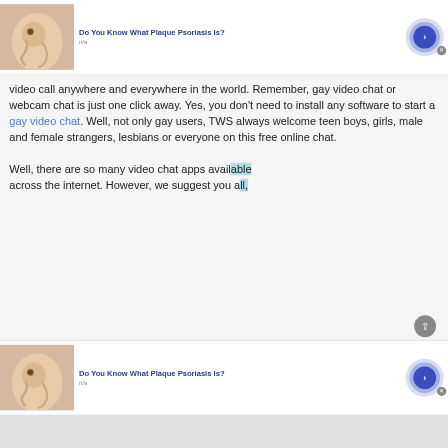[Figure (screenshot): Advertisement banner at top: skin condition photo, 'Do You Know What Plaque Psoriasis Is?' title, n/a subtitle, blue arrow button, close X button]
video call anywhere and everywhere in the world. Remember, gay video chat or webcam chat is just one click away. Yes, you don't need to install any software to start a gay video chat. Well, not only gay users, TWS always welcome teen boys, girls, male and female strangers, lesbians or everyone on this free online chat.

Well, there are so many video chat apps available across the internet. However, we suggest you all,
[Figure (screenshot): Advertisement banner at bottom: skin condition photo, 'Do You Know What Plaque Psoriasis Is?' title, n/a subtitle, blue arrow button, close X button]